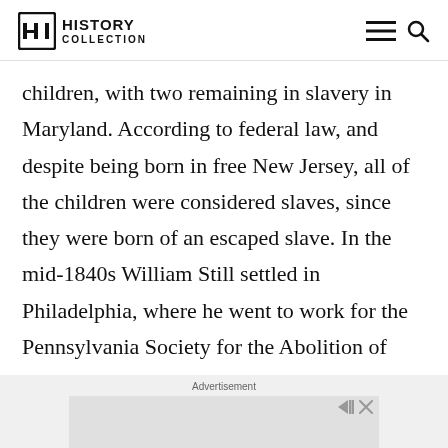HISTORY COLLECTION
children, with two remaining in slavery in Maryland. According to federal law, and despite being born in free New Jersey, all of the children were considered slaves, since they were born of an escaped slave. In the mid-1840s William Still settled in Philadelphia, where he went to work for the Pennsylvania Society for the Abolition of Slavery.
Advertisement